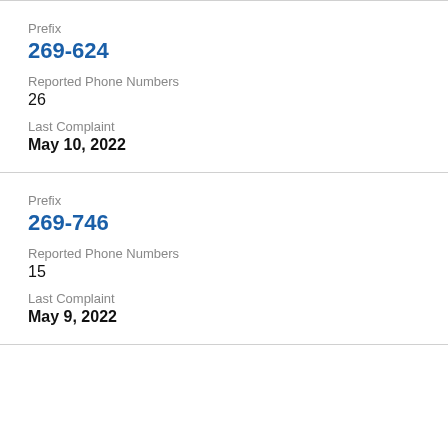Prefix
269-624
Reported Phone Numbers
26
Last Complaint
May 10, 2022
Prefix
269-746
Reported Phone Numbers
15
Last Complaint
May 9, 2022